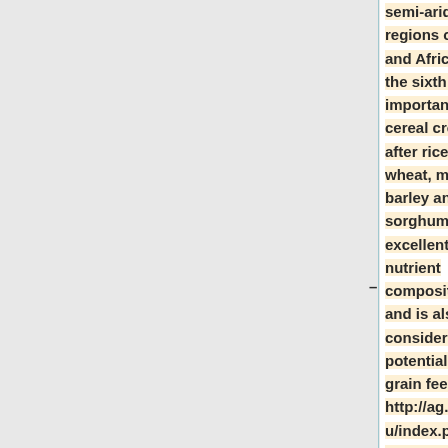semi-arid regions of Asia and Africa. It is the sixth most important cereal crops after rice, wheat, maize, barley and sorghum with excellent nutrient composition and is also considered a potential biofuel grain feedstock; http://ag.fvsu.edu/index.php/research/bioenergy/). <ref name="ref1"/> <ref